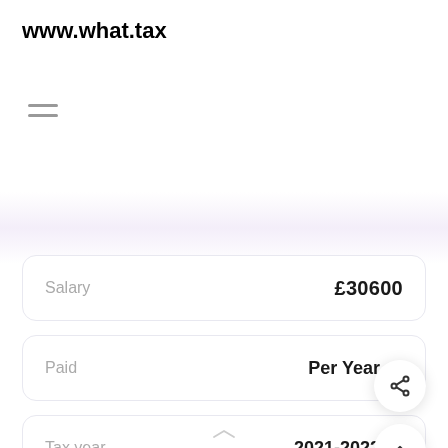www.what.tax
[Figure (other): Hamburger menu icon with two horizontal lines]
| Field | Value |
| --- | --- |
| Salary | £30600 |
| Paid | Per Year |
| Tax year | 2021-2022 |